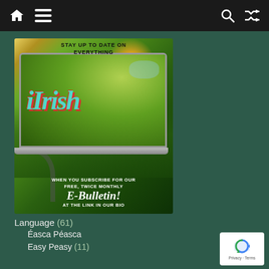Navigation bar with home, menu, search, and shuffle icons
[Figure (illustration): Promotional banner for iIrish e-bulletin showing a laptop with Irish countryside background. Text reads: STAY UP TO DATE ON EVERYTHING iIrish WHEN YOU SUBSCRIBE FOR OUR FREE, TWICE MONTHLY E-Bulletin! AT THE LINK IN OUR BIO]
Language (61)
Éasca Péasca
Easy Peasy (11)